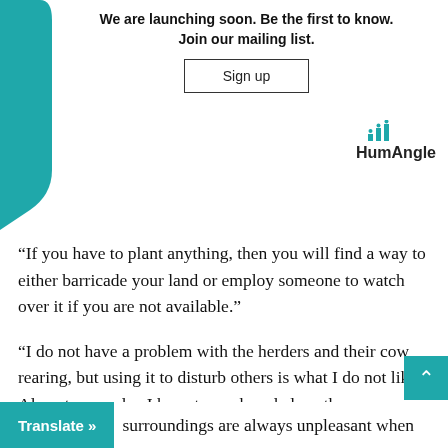[Figure (illustration): Teal decorative curved shape on the left side of the header area]
We are launching soon. Be the first to know. Join our mailing list.
Sign up
[Figure (logo): HumAngle logo with bar chart icon in teal and bold text]
“If you have to plant anything, then you will find a way to either barricade your land or employ someone to watch over it if you are not available.”
“I do not have a problem with the herders and their cow rearing, but using it to disturb others is what I do not like. Almost every day I have to wash and clean the surroundings of my shop because the cows would have messed it up,” she said.
S surroundings are always unpleasant when